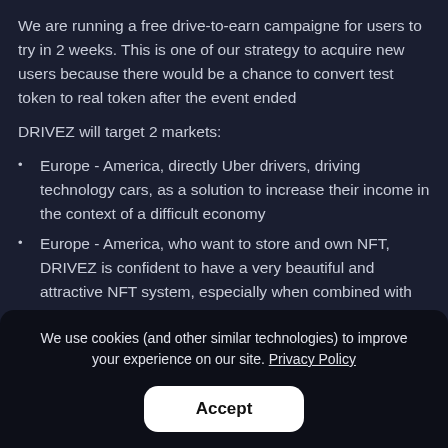We are running a free drive-to-earn campaigne for users to try in 2 weeks. This is one of our strategy to acquire new users because there would be a chance to convert test token to real token after the event ended
DRIVEZ will target 2 markets:
Europe - America, directly Uber drivers, driving technology cars, as a solution to increase their income in the context of a difficult economy
Europe - America, who want to store and own NFT, DRIVEZ is confident to have a very beautiful and attractive NFT system, especially when combined with artists and car manufacturers to launch sets. Limited and
We use cookies (and other similar technologies) to improve your experience on our site. Privacy Policy
Accept